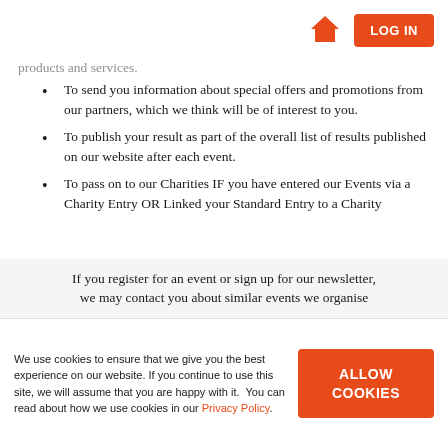LOG IN
products and services.
To send you information about special offers and promotions from our partners, which we think will be of interest to you.
To publish your result as part of the overall list of results published on our website after each event.
To pass on to our Charities IF you have entered our Events via a Charity Entry OR Linked your Standard Entry to a Charity
If you register for an event or sign up for our newsletter, we may contact you about similar events we organise
We use cookies to ensure that we give you the best experience on our website. If you continue to use this site, we will assume that you are happy with it.  You can read about how we use cookies in our Privacy Policy.
ALLOW COOKIES